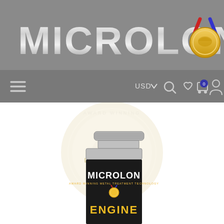[Figure (logo): Microlon brand logo in metallic silver lettering on grey background with medal icon top right]
USD  0
[Figure (photo): Microlon Engine Treatment product bottle (dark cylindrical can) with silver screw cap, shown from above with MICROLON logo and ENGINE text visible, overlaid with semi-transparent watermark seal and LOADING... text]